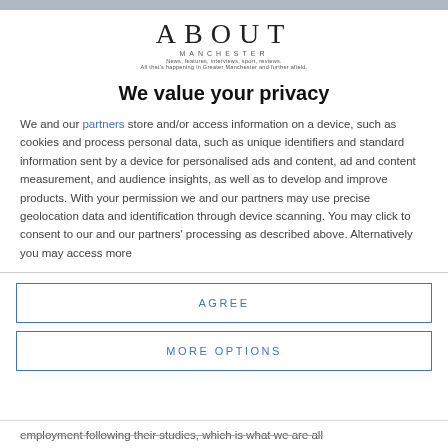[Figure (logo): About Manchester logo with tagline: News, features, interviews, sport, reviews. All that's happening in Greater Manchester and further afield.]
We value your privacy
We and our partners store and/or access information on a device, such as cookies and process personal data, such as unique identifiers and standard information sent by a device for personalised ads and content, ad and content measurement, and audience insights, as well as to develop and improve products. With your permission we and our partners may use precise geolocation data and identification through device scanning. You may click to consent to our and our partners' processing as described above. Alternatively you may access more
AGREE
MORE OPTIONS
employment following their studies, which is what we are all